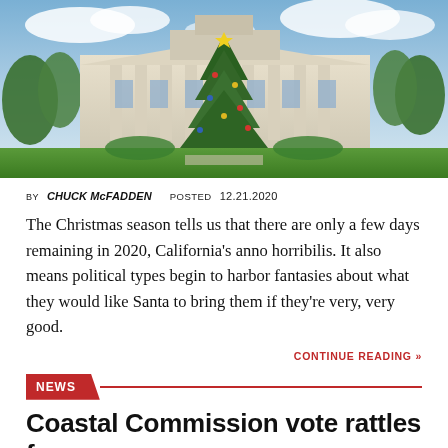[Figure (photo): Photograph of a government building (state capitol) with a large decorated Christmas tree in front, green lawn, blue cloudy sky]
BY CHUCK McFADDEN  POSTED 12.21.2020
The Christmas season tells us that there are only a few days remaining in 2020, California's anno horribilis. It also means political types begin to harbor fantasies about what they would like Santa to bring them if they're very, very good.
CONTINUE READING »
NEWS
Coastal Commission vote rattles far